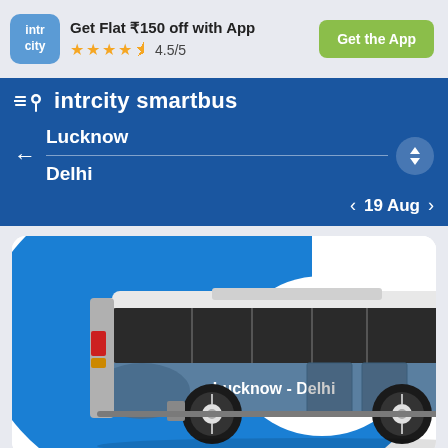[Figure (logo): IntrCity app logo - blue rounded square with 'intr city' text]
Get Flat ₹150 off with App
★★★★½ 4.5/5
Get the App
intrcity smartbus
Lucknow
Delhi
19 Aug
[Figure (illustration): Blue and white intercity bus illustration with 'Lucknow - Delhi' text on the side, on a blue background]
Trip Overview